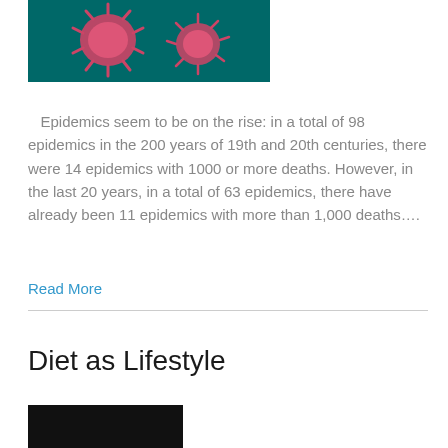[Figure (photo): Close-up photo of coronavirus particles (pink/red spiky spheres) on a teal/dark background]
Epidemics seem to be on the rise: in a total of 98 epidemics in the 200 years of 19th and 20th centuries, there were 14 epidemics with 1000 or more deaths. However, in the last 20 years, in a total of 63 epidemics, there have already been 11 epidemics with more than 1,000 deaths….
Read More
Diet as Lifestyle
[Figure (photo): Dark/black image at bottom of page, partially visible]